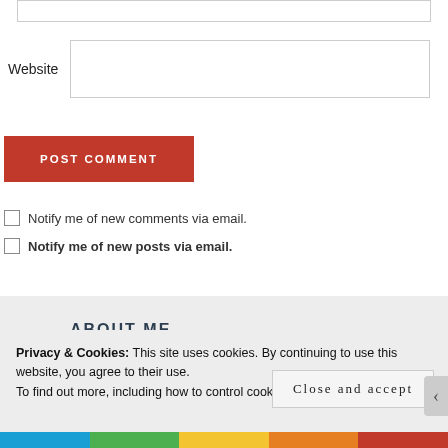Website
POST COMMENT
Notify me of new comments via email.
Notify me of new posts via email.
ABOUT ME
Privacy & Cookies: This site uses cookies. By continuing to use this website, you agree to their use.
To find out more, including how to control cookies, see here: Cookie Policy
Close and accept